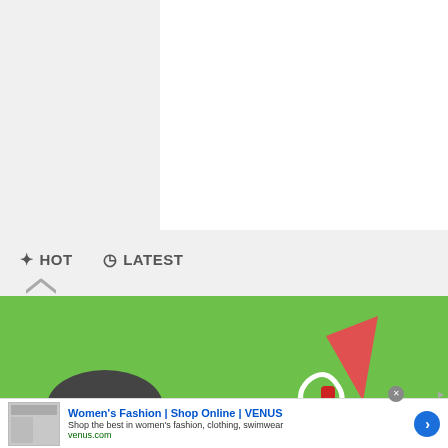[Figure (screenshot): White content box area on grey background - partial webpage view]
HOT   LATEST
[Figure (photo): Photo showing a dark puck/disc and a paper clip spinner toy on a wooden base against green and pink background]
Women's Fashion | Shop Online | VENUS
Shop the best in women's fashion, clothing, swimwear
venus.com